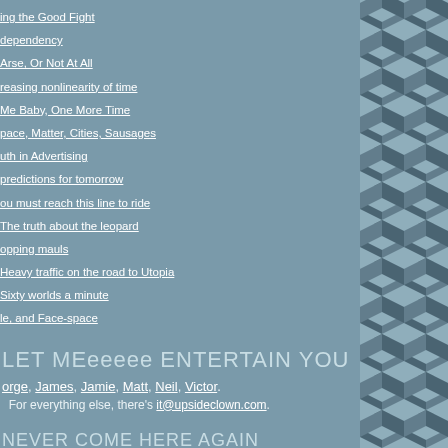ing the Good Fight
dependency
Arse, Or Not At All
reasing nonlinearity of time
Me Baby, One More Time
pace, Matter, Cities, Sausages
uth in Advertising
predictions for tomorrow
ou must reach this line to ride
The truth about the leopard
opping mauls
Heavy traffic on the road to Utopia
Sixty worlds a minute
le, and Face-space
LET MEeeeee ENTERTAIN YOU
orge, James, Jamie, Matt, Neil, Victor.
For everything else, there's it@upsideclown.com.
NEVER COME HERE AGAIN
by email too. Get fresh steaming Upsideclown in your inbox Mondays and to visit this website again. To subscribe, send the word subscribe in the body of st@historicalfact.com. (To unsubscribe, send the word unsubscribe instead.)